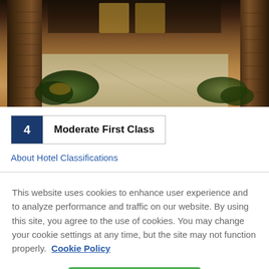[Figure (photo): Exterior photo of hotel entrance at night with stone pillars, illuminated driveway, and landscaping with shrubs]
4   Moderate First Class
About Hotel Classifications
This website uses cookies to enhance user experience and to analyze performance and traffic on our website. By using this site, you agree to the use of cookies. You may change your cookie settings at any time, but the site may not function properly.  Cookie Policy
Close